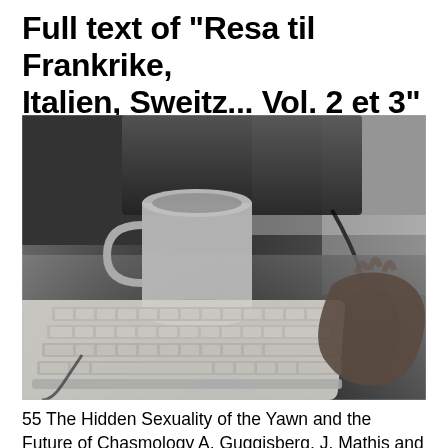Full text of "Resa til Frankrike, Italien, Sweitz... Vol. 2 et 3"
[Figure (photo): Black and white photograph of a desk with a keyboard, a coffee mug, a computer monitor in the background, and a hand using a computer mouse on the right side.]
55 The Hidden Sexuality of the Yawn and the Future of Chasmology A. Guggisberg, J. Mathis and